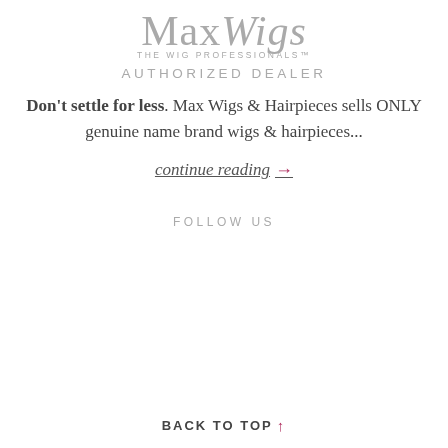[Figure (logo): MaxWigs - The Wig Professionals logo with 'AUTHORIZED DEALER' text below]
Don't settle for less. Max Wigs & Hairpieces sells ONLY genuine name brand wigs & hairpieces...
continue reading →
FOLLOW US
[Figure (illustration): Social media icons: Facebook, Google+, YouTube, Instagram, Pinterest]
BACK TO TOP ↑